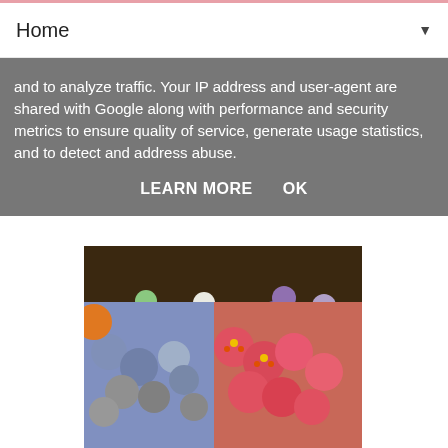Home ▼
and to analyze traffic. Your IP address and user-agent are shared with Google along with performance and security metrics to ensure quality of service, generate usage statistics, and to detect and address abuse.
LEARN MORE    OK
[Figure (photo): Display shelf of colorful bath bombs including green, white, purple and lavender spheres with price labels in what appears to be a Lush store]
[Figure (photo): Close-up of bath bombs including blue/grey spheres on the left and pink/red flower-decorated spheres on the right, with an orange fruit visible in the background]